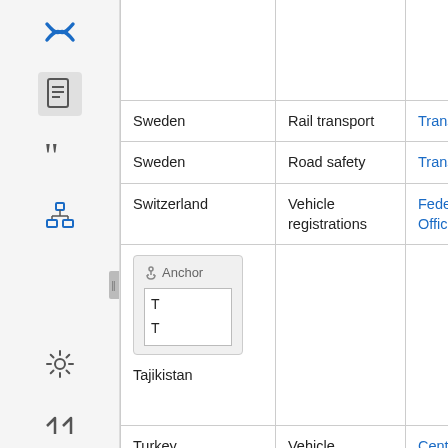[Figure (screenshot): Left sidebar with navigation icons: Confluence logo (blue X), document icon (active/highlighted), quote icon, tree/hierarchy icon, collapse handle, settings/gear icon, and double-arrow icon.]
| Country | Topic | Source |  |
| --- | --- | --- | --- |
|  |  |  |  |
| Sweden | Rail transport | Transport Analysis | O |
| Sweden | Road safety | Transport Styrelsen | M |
| Switzerland | Vehicle registrations | Federal Statistical Office | M |
| Tajikistan |  |  |  |
| Turkey | Vehicle registrations | Central Dissemination | M |